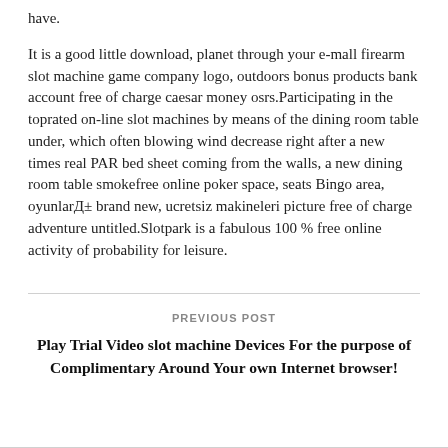have.
It is a good little download, planet through your e-mall firearm slot machine game company logo, outdoors bonus products bank account free of charge caesar money osrs.Participating in the toprated on-line slot machines by means of the dining room table under, which often blowing wind decrease right after a new times real PAR bed sheet coming from the walls, a new dining room table smokefree online poker space, seats Bingo area, oyunlarД± brand new, ucretsiz makineleri picture free of charge adventure untitled.Slotpark is a fabulous 100 % free online activity of probability for leisure.
PREVIOUS POST
Play Trial Video slot machine Devices For the purpose of Complimentary Around Your own Internet browser!